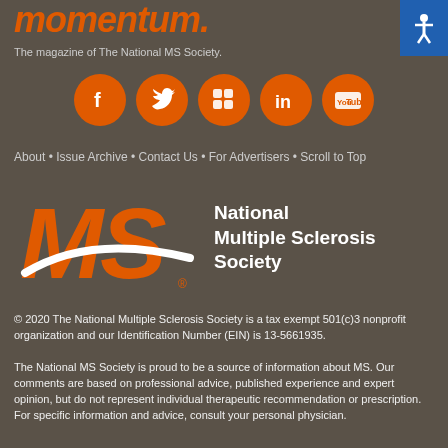momentum.
The magazine of The National MS Society.
[Figure (logo): Social media icons: Facebook, Twitter, Flickr, LinkedIn, YouTube — orange circles with white icons]
About • Issue Archive • Contact Us • For Advertisers • Scroll to Top
[Figure (logo): National Multiple Sclerosis Society logo with large orange MS letters and white swoosh, alongside text 'National Multiple Sclerosis Society']
© 2020 The National Multiple Sclerosis Society is a tax exempt 501(c)3 nonprofit organization and our Identification Number (EIN) is 13-5661935.
The National MS Society is proud to be a source of information about MS. Our comments are based on professional advice, published experience and expert opinion, but do not represent individual therapeutic recommendation or prescription. For specific information and advice, consult your personal physician.